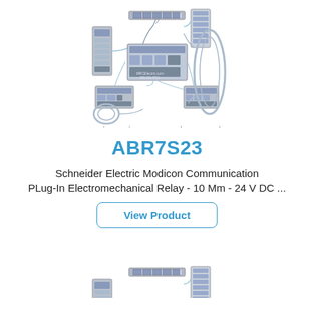[Figure (schematic): Exploded schematic diagram of Schneider Electric Modicon communication relay system components with connecting cables and modules]
ABR7S23
Schneider Electric Modicon Communication
PLug-In Electromechanical Relay - 10 Mm - 24 V DC ...
View Product
[Figure (schematic): Partial exploded schematic diagram of Schneider Electric Modicon communication relay system, cropped at bottom of page]